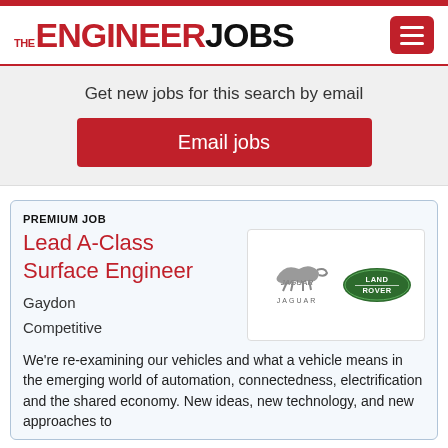[Figure (logo): THE ENGINEER JOBS website logo with red and black text]
Get new jobs for this search by email
Email jobs
PREMIUM JOB
Lead A-Class Surface Engineer
[Figure (logo): Jaguar Land Rover logos side by side: Jaguar leaping cat logo and Land Rover green oval badge]
Gaydon
Competitive
We're re-examining our vehicles and what a vehicle means in the emerging world of automation, connectedness, electrification and the shared economy. New ideas, new technology, and new approaches to